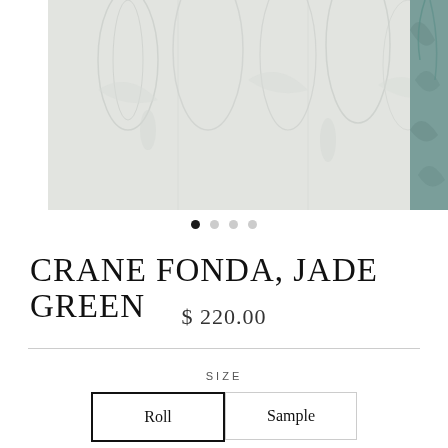[Figure (photo): Two wallpaper product images side by side: a large light grey/white botanical crane and leaf pattern wallpaper on the left, and a smaller teal/green botanical wallpaper on the right edge]
[Figure (other): Carousel pagination dots: one filled black dot followed by three light grey dots]
CRANE FONDA, JADE GREEN
$ 220.00
SIZE
Roll
Sample